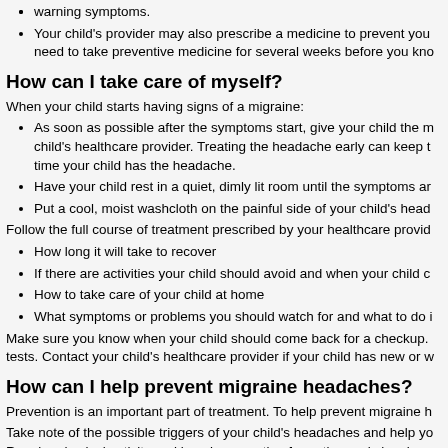warning symptoms.
Your child's provider may also prescribe a medicine to prevent you need to take preventive medicine for several weeks before you kno
How can I take care of myself?
When your child starts having signs of a migraine:
As soon as possible after the symptoms start, give your child the m child's healthcare provider. Treating the headache early can keep t time your child has the headache.
Have your child rest in a quiet, dimly lit room until the symptoms ar
Put a cool, moist washcloth on the painful side of your child's head
Follow the full course of treatment prescribed by your healthcare provid
How long it will take to recover
If there are activities your child should avoid and when your child c
How to take care of your child at home
What symptoms or problems you should watch for and what to do i
Make sure you know when your child should come back for a checkup. tests. Contact your child's healthcare provider if your child has new or w
How can I help prevent migraine headaches?
Prevention is an important part of treatment. To help prevent migraine h
Take note of the possible triggers of your child's headaches and help yo Regular physical activity and keeping a routine for eating and sleeping migraines.
Talk to your child about the risks of smoking and using e-cigarettes, drin
Many children have fewer migraines as they get older.